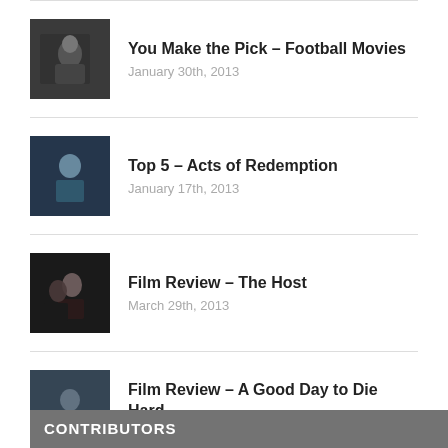You Make the Pick – Football Movies
January 30th, 2013
Top 5 – Acts of Redemption
January 17th, 2013
Film Review – The Host
March 29th, 2013
Film Review – A Good Day to Die Hard
February 14th, 2013
CONTRIBUTORS